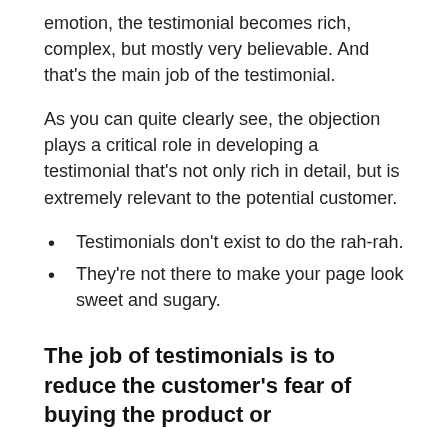emotion, the testimonial becomes rich, complex, but mostly very believable. And that's the main job of the testimonial.
As you can quite clearly see, the objection plays a critical role in developing a testimonial that's not only rich in detail, but is extremely relevant to the potential customer.
Testimonials don't exist to do the rah-rah.
They're not there to make your page look sweet and sugary.
The job of testimonials is to reduce the customer's fear of buying the product or